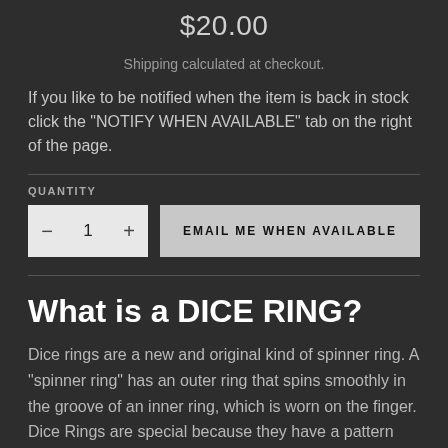$20.00
Shipping calculated at checkout.
If you like to be notified when the item is back in stock click the "NOTIFY WHEN AVAILABLE" tab on the right of the page.
QUANTITY
EMAIL ME WHEN AVAILABLE
What is a DICE RING?
Dice rings are a new and original kind of spinner ring. A "spinner ring" has an outer ring that spins smoothly in the groove of an inner ring, which is worn on the finger. Dice Rings are special because they have a pattern and indicators laser etched on them, so that